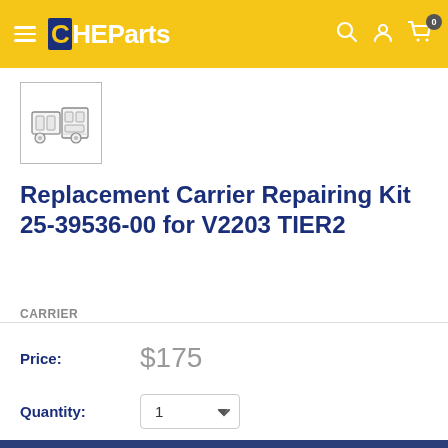CHEParts — navigation header with logo, search, account, and cart icons
[Figure (photo): Small thumbnail image of a mechanical repair kit/engine parts]
Replacement Carrier Repairing Kit 25-39536-00 for V2203 TIER2
CARRIER
Price: $175
Quantity: 1